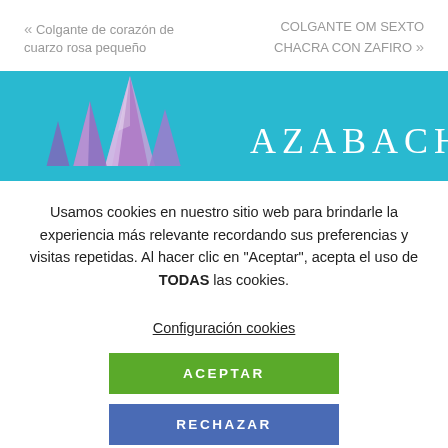« Colgante de corazón de cuarzo rosa pequeño
COLGANTE OM SEXTO CHACRA CON ZAFIRO »
[Figure (illustration): Azabache website banner with teal/cyan background, purple amethyst crystal on the left, and 'AZABACHE' text in white serif letters on the right]
Usamos cookies en nuestro sitio web para brindarle la experiencia más relevante recordando sus preferencias y visitas repetidas. Al hacer clic en "Aceptar", acepta el uso de TODAS las cookies.
Configuración cookies
ACEPTAR
RECHAZAR